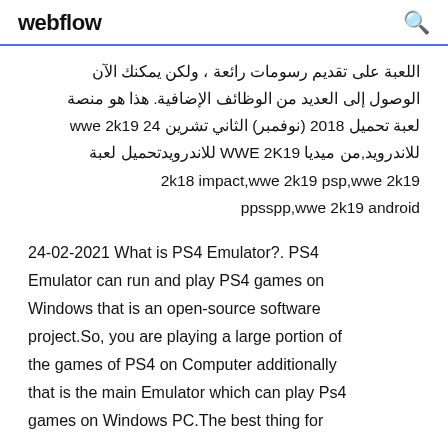webflow
اللعبة على تقديم رسومات رائعة ، ولكن يمكنك الآن الوصول إلى العديد من الوظائف الإضافية. هذا هو منصة لعبة تحميل 2018 (نوفمبر) الثاني تشرين 24 wwe 2k19 للاندرويد,من ميديا WWE 2K19 للاندرويدتحميل لعبة 2k18 impact,wwe 2k19 psp,wwe 2k19 ppsspp,wwe 2k19 android
24-02-2021 What is PS4 Emulator?. PS4 Emulator can run and play PS4 games on Windows that is an open-source software project.So, you are playing a large portion of the games of PS4 on Computer additionally that is the main Emulator which can play Ps4 games on Windows PC.The best thing for